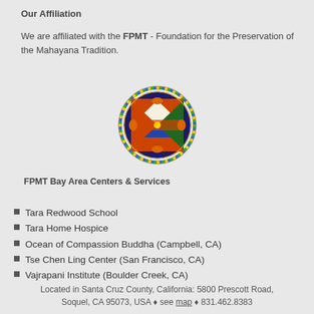Our Affiliation
We are affiliated with the FPMT - Foundation for the Preservation of the Mahayana Tradition.
[Figure (logo): FPMT circular logo with colorful geometric mandala design and rope border]
FPMT Bay Area Centers & Services
Tara Redwood School
Tara Home Hospice
Ocean of Compassion Buddha (Campbell, CA)
Tse Chen Ling Center (San Francisco, CA)
Vajrapani Institute (Boulder Creek, CA)
Located in Santa Cruz County, California: 5800 Prescott Road, Soquel, CA 95073, USA ♦ see map ♦ 831.462.8383